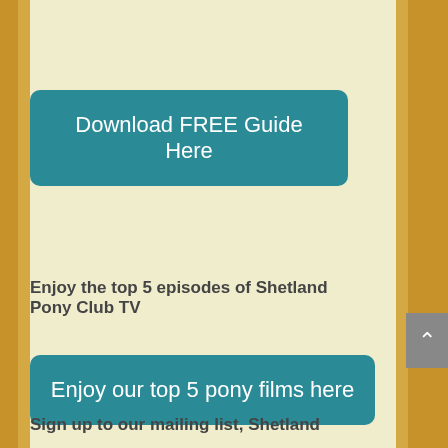Download FREE Guide Here
Enjoy the top 5 episodes of Shetland Pony Club TV
Enjoy our top 5 pony films here
Sign up to our mailing list, Shetland